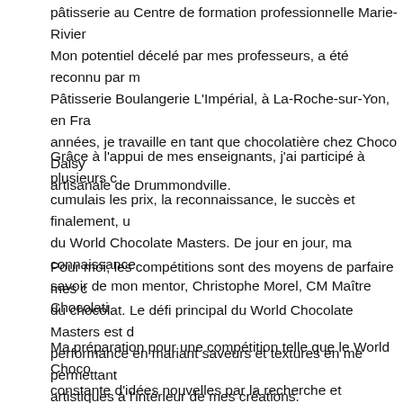pâtisserie au Centre de formation professionnelle Marie-Rivier. Mon potentiel décelé par mes professeurs, a été reconnu par m... Pâtisserie Boulangerie L'Impérial, à La-Roche-sur-Yon, en Fra... années, je travaille en tant que chocolatière chez Choco Daisy artisanale de Drummondville.
Grâce à l'appui de mes enseignants, j'ai participé à plusieurs c cumulais les prix, la reconnaissance, le succès et finalement, u du World Chocolate Masters. De jour en jour, ma connaissance savoir de mon mentor, Christophe Morel, CM Maître Chocolati...
Pour moi, les compétitions sont des moyens de parfaire mes c du chocolat. Le défi principal du World Chocolate Masters est d performance en mariant saveurs et textures en me permettant artistiques à l'intérieur de mes créations.
Ma préparation pour une compétition telle que le World Choco constante d'idées nouvelles par la recherche et l'expérimentati m'aident dans ce processus tels que Christophe Morel, Line Le...